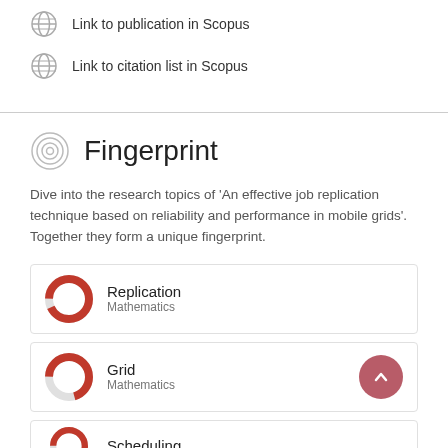Link to publication in Scopus
Link to citation list in Scopus
Fingerprint
Dive into the research topics of 'An effective job replication technique based on reliability and performance in mobile grids'. Together they form a unique fingerprint.
Replication
Mathematics
Grid
Mathematics
Scheduling